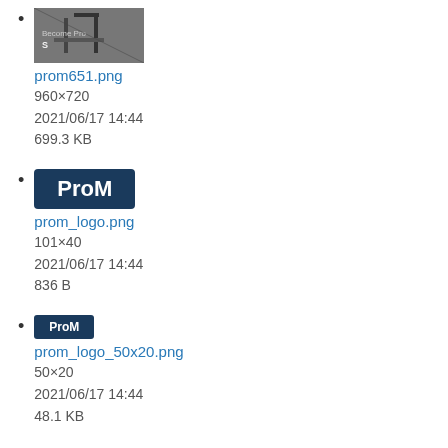prom651.png
960×720
2021/06/17 14:44
699.3 KB
prom_logo.png
101×40
2021/06/17 14:44
836 B
prom_logo_50x20.png
50×20
2021/06/17 14:44
48.1 KB
prom_subtitle_hat_300.png
300×130
2021/06/17 14:44